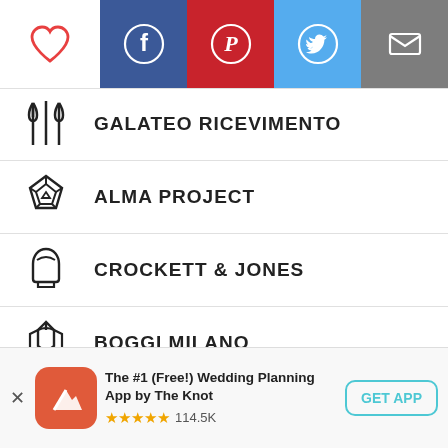[Figure (screenshot): Social sharing bar with heart, Facebook, Pinterest, Twitter, and email icons]
GALATEO RICEVIMENTO
ALMA PROJECT
CROCKETT & JONES
BOGGI MILANO
DANIELA DELIA STUDIO
BLANC RICEVIMENTI
[Figure (screenshot): App banner: The #1 (Free!) Wedding Planning App by The Knot, 5 stars, 114.5K reviews, GET APP button]